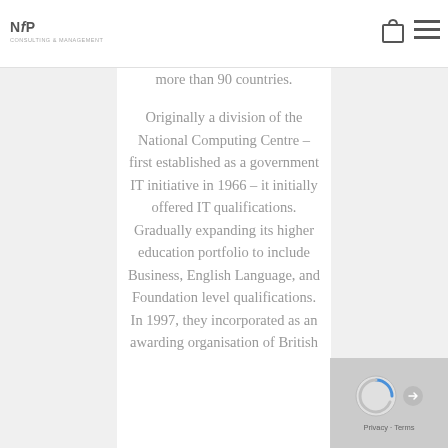NfP Consulting | logo and navigation icons
more than 90 countries.
Originally a division of the National Computing Centre – first established as a government IT initiative in 1966 – it initially offered IT qualifications. Gradually expanding its higher education portfolio to include Business, English Language, and Foundation level qualifications. In 1997, they incorporated as an awarding organisation of British